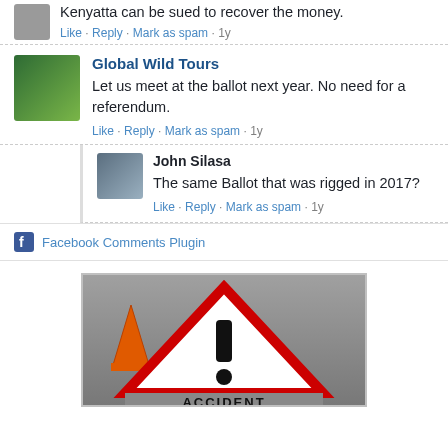Kenyatta can be sued to recover the money.
Like · Reply · Mark as spam · 1y
Global Wild Tours
Let us meet at the ballot next year. No need for a referendum.
Like · Reply · Mark as spam · 1y
John Silasa
The same Ballot that was rigged in 2017?
Like · Reply · Mark as spam · 1y
Facebook Comments Plugin
[Figure (photo): Accident warning sign with red triangle and exclamation mark on road, with orange traffic cone, text ACCIDENT at bottom]